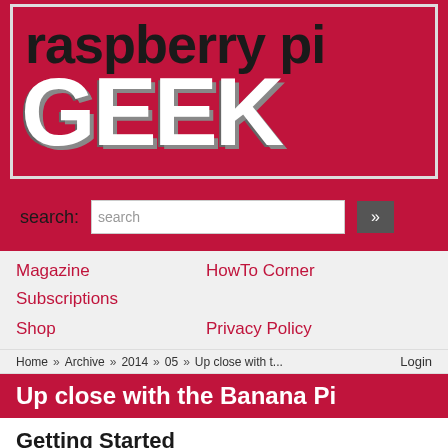[Figure (logo): Raspberry Pi Geek magazine logo — dark red background, 'raspberry pi' in black bold text, 'GEEK' in large white bold text with shadow]
search:
search  »
Magazine    HowTo Corner    Subscriptions    Shop    Privacy Policy
Home » Archive » 2014 » 05 » Up close with t...    Login
Up close with the Banana Pi
Getting Started
Because of the different processor on the Banana Pi, it is not possible to use the standard Raspbian operating system image from the Raspberry Pi Foundation's website. There are a number of